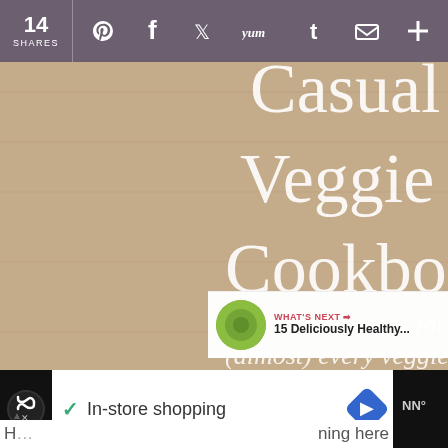14 SHARES
[Figure (photo): Casual Veggie Cookbook promotional image showing a laptop with the cookbook open, a fork, and a tomato on a wooden background. Text reads: 'Casual Veggie Cookbook - everyday recipes for (almost) every veggie' with a BUY NOW button.]
WHAT'S NEXT → 15 Deliciously Healthy...
1
[Figure (screenshot): Bottom advertisement bar showing 'In-store shopping' with a checkmark, logos and navigation icons on dark background.]